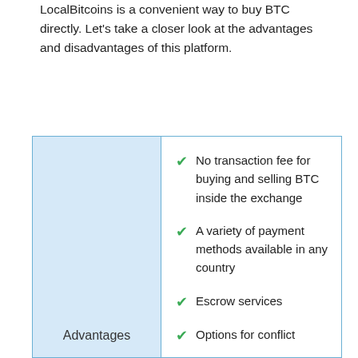LocalBitcoins is a convenient way to buy BTC directly. Let's take a closer look at the advantages and disadvantages of this platform.
|  |  |
| --- | --- |
| Advantages | ✔ No transaction fee for buying and selling BTC inside the exchange
✔ A variety of payment methods available in any country
✔ Escrow services
✔ Options for conflict |